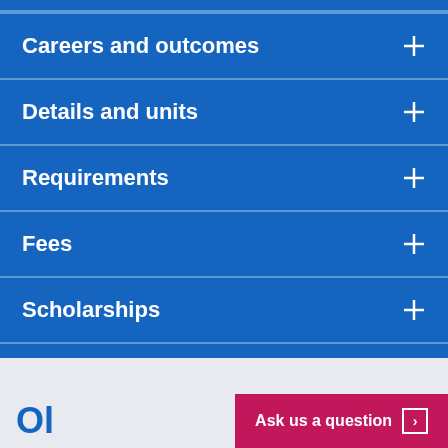Careers and outcomes
Details and units
Requirements
Fees
Scholarships
Ask us a question